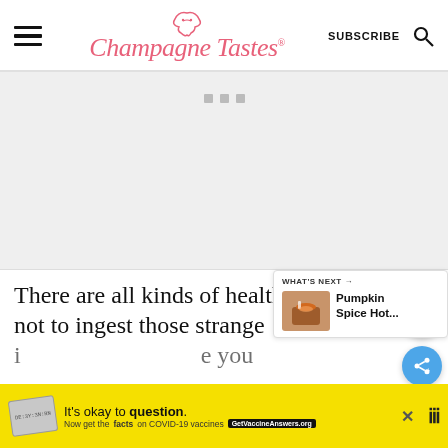Champagne Tastes
[Figure (other): Advertisement placeholder area with three small gray squares centered at top]
[Figure (other): Blue circular heart/favorite button floating on the right side]
[Figure (other): Blue circular share button floating on the right side]
There are all kinds of health r... not to ingest those strange i... e you
[Figure (other): What's Next sidebar panel showing 'Pumpkin Spice Hot...' with a mug image]
[Figure (other): Yellow advertisement banner at bottom: It's okay to question. Now get the facts on COVID-19 vaccines. GetVaccineAnswers.org]